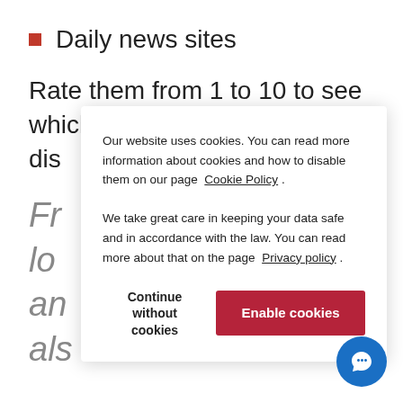Daily news sites
Rate them from 1 to 10 to see which dis...
Fr... lo... an... als...
Our website uses cookies. You can read more information about cookies and how to disable them on our page Cookie Policy. We take great care in keeping your data safe and in accordance with the law. You can read more about that on the page Privacy policy.
Continue without cookies
Enable cookies